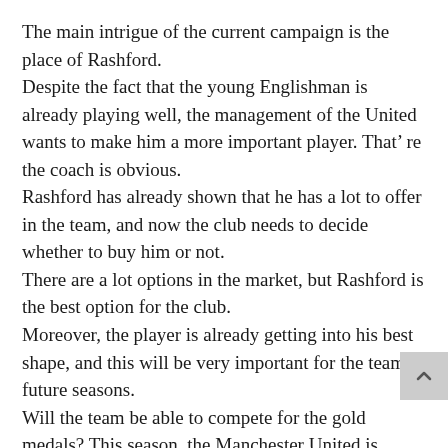The main intrigue of the current campaign is the place of Rashford.
Despite the fact that the young Englishman is already playing well, the management of the United wants to make him a more important player. That’ re the coach is obvious.
Rashford has already shown that he has a lot to offer in the team, and now the club needs to decide whether to buy him or not.
There are a lot options in the market, but Rashford is the best option for the club.
Moreover, the player is already getting into his best shape, and this will be very important for the team in future seasons.
Will the team be able to compete for the gold medals? This season, the Manchester United is definitely not in the best shape.
Although, the season has already started, and so far the